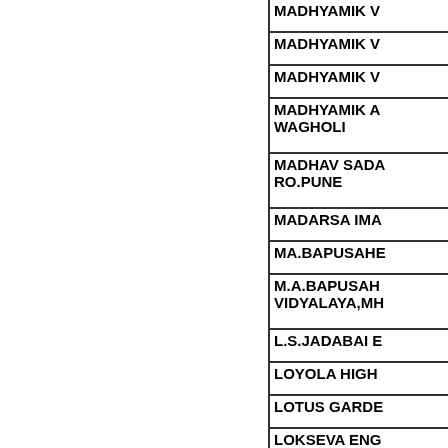MADHYAMIK V
MADHYAMIK V
MADHYAMIK V
MADHYAMIK A WAGHOLI
MADHAV SADA RO.PUNE
MADARSA IMA
MA.BAPUSAHE
M.A.BAPUSAH VIDYALAYA,MH
L.S.JADABAI E
LOYOLA HIGH
LOTUS GARDE
LOKSEVA ENG
LOKNETE D.JA MADHY.VID,HIG
LITTLE FLOWE
LIONS CLUB E DEHUROAD